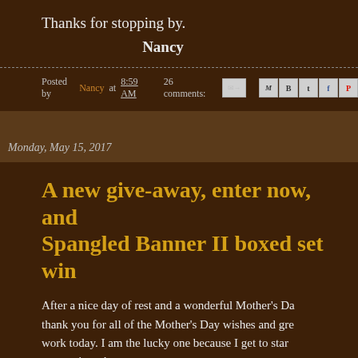Thanks for stopping by.
Nancy
Posted by Nancy at 8:59 AM   26 comments:
Monday, May 15, 2017
A new give-away, enter now, and Spangled Banner II boxed set win
After a nice day of rest and a wonderful Mother's Da thank you for all of the Mother's Day wishes and gre work today. I am the lucky one because I get to star away winner!
The Star Spangled Banner II Collection.